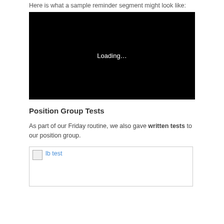Here is what a sample reminder segment might look like:
[Figure (screenshot): Black video player box with white 'Loading…' text centered]
Position Group Tests
As part of our Friday routine, we also gave written tests to our position group.
[Figure (photo): Broken image placeholder with link text 'lb test']